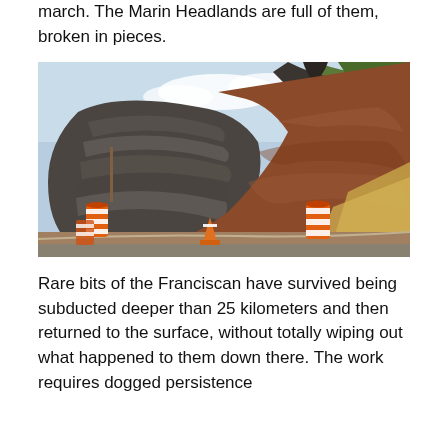march. The Marin Headlands are full of them, broken in pieces.
[Figure (photo): Roadside cut exposing a large outcrop of Franciscan Complex rock — layered dark serpentinite/chert bands interlayered with reddish-brown mudstone, leaning at a steep angle. Orange traffic barrels and a construction cone visible at the base. Blue sky and green hillside vegetation visible above the rock face.]
Rare bits of the Franciscan have survived being subducted deeper than 25 kilometers and then returned to the surface, without totally wiping out what happened to them down there. The work requires dogged persistence